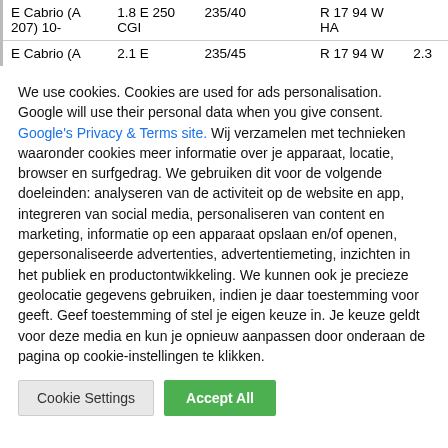| Model | Engine | Tyre |  | Wheel |  |
| --- | --- | --- | --- | --- | --- |
| E Cabrio (A 207) 10- | 1.8 E 250 CGI | 235/40 |  | R 17 94 W HA |  |
| E Cabrio (A | 2.1 E | 235/45 |  | R 17 94 W | 2.3 |
We use cookies. Cookies are used for ads personalisation. Google will use their personal data when you give consent. Google's Privacy & Terms site. Wij verzamelen met technieken waaronder cookies meer informatie over je apparaat, locatie, browser en surfgedrag. We gebruiken dit voor de volgende doeleinden: analyseren van de activiteit op de website en app, integreren van social media, personaliseren van content en marketing, informatie op een apparaat opslaan en/of openen, gepersonaliseerde advertenties, advertentiemeting, inzichten in het publiek en productontwikkeling. We kunnen ook je precieze geolocatie gegevens gebruiken, indien je daar toestemming voor geeft. Geef toestemming of stel je eigen keuze in. Je keuze geldt voor deze media en kun je opnieuw aanpassen door onderaan de pagina op cookie-instellingen te klikken.